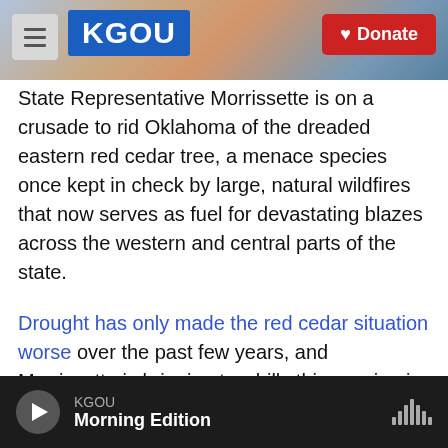[Figure (screenshot): KGOU radio website header with menu icon, KGOU blue logo, and red Donate button over a city background photo.]
State Representative Morrissette is on a crusade to rid Oklahoma of the dreaded eastern red cedar tree, a menace species once kept in check by large, natural wildfires that now serves as fuel for devastating blazes across the western and central parts of the state.
Drought has only made the red cedar situation worse over the past few years, and Morrissette is bringing two bills this session in the hopes of mitigating future damage.
One bill would start a program to enlist inmates to work on cedar removal, and idea StateImpact
KGOU
Morning Edition